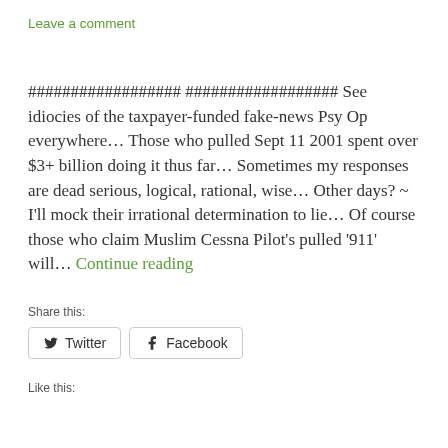Leave a comment
################## ################## See idiocies of the taxpayer-funded fake-news Psy Op everywhere... Those who pulled Sept 11 2001 spent over $3+ billion doing it thus far... Sometimes my responses are dead serious, logical, rational, wise... Other days? ~ I'll mock their irrational determination to lie... Of course those who claim Muslim Cessna Pilot's pulled '911' will... Continue reading
Share this:
Twitter
Facebook
Like this: